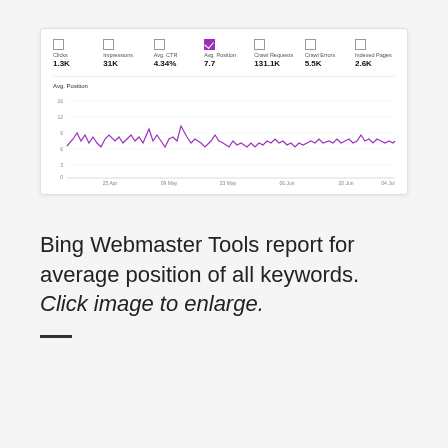[Figure (screenshot): Bing Webmaster Tools dashboard screenshot showing metrics: Clicks 1.3K, Impressions 31K, Avg. CTR 4.34%, Avg. Position 7.7 (selected/checked), Crawl Requests 131.1K, Crawl Errors 5.5K, Indexed Pages 2.6K. Below metrics is a line chart of Avg. Position over time from late April to early July, showing a fluctuating line around position 7-10 in purple/magenta color.]
Bing Webmaster Tools report for average position of all keywords. Click image to enlarge.